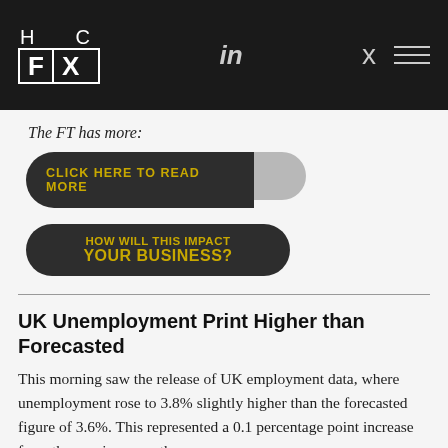HC FX
The FT has more:
[Figure (other): Button: CLICK HERE TO READ MORE (dark pill with gold text, light grey right cap)]
[Figure (other): Button: HOW WILL THIS IMPACT YOUR BUSINESS? (dark pill with gold text)]
UK Unemployment Print Higher than Forecasted
This morning saw the release of UK employment data, where unemployment rose to 3.8% slightly higher than the forecasted figure of 3.6%. This represented a 0.1 percentage point increase from the previous months